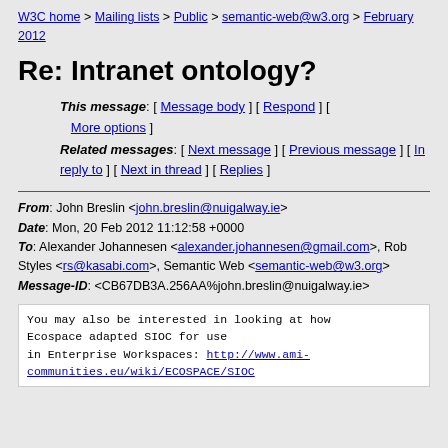W3C home > Mailing lists > Public > semantic-web@w3.org > February 2012
Re: Intranet ontology?
This message: [ Message body ] [ Respond ] [ More options ] Related messages: [ Next message ] [ Previous message ] [ In reply to ] [ Next in thread ] [ Replies ]
From: John Breslin <john.breslin@nuigalway.ie>
Date: Mon, 20 Feb 2012 11:12:58 +0000
To: Alexander Johannesen <alexander.johannesen@gmail.com>, Rob Styles <rs@kasabi.com>, Semantic Web <semantic-web@w3.org>
Message-ID: <CB67DB3A.256AA%john.breslin@nuigalway.ie>
You may also be interested in looking at how Ecospace adapted SIOC for use in Enterprise Workspaces: http://www.ami-communities.eu/wiki/ECOSPACE/SIOC